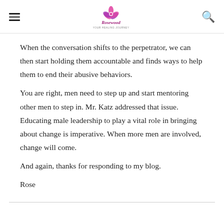[hamburger menu] [Rosewood logo] [search icon]
When the conversation shifts to the perpetrator, we can then start holding them accountable and finds ways to help them to end their abusive behaviors.
You are right, men need to step up and start mentoring other men to step in. Mr. Katz addressed that issue. Educating male leadership to play a vital role in bringing about change is imperative. When more men are involved, change will come.
And again, thanks for responding to my blog.
Rose